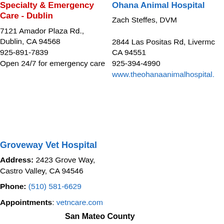Specialty & Emergency Care - Dublin
7121 Amador Plaza Rd., Dublin, CA 94568
925-891-7839
Open 24/7 for emergency care
Ohana Animal Hospital
Zach Steffes, DVM
2844 Las Positas Rd, Livermore, CA 94551
925-394-4990
www.theohanaanimalhospital.com
Groveway Vet Hospital
Address: 2423 Grove Way, Castro Valley, CA 94546
Phone: (510) 581-6629
Appointments: vetncare.com
San Mateo County